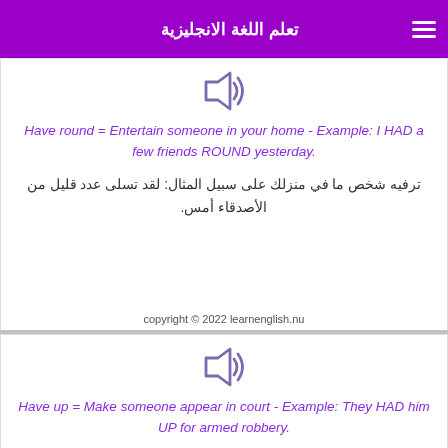تعلم اللغة الانجليزية
[Figure (illustration): Speaker/audio icon in blue-purple outline style]
Have round = Entertain someone in your home - Example: I HAD a few friends ROUND yesterday.
ترفيه شخص ما في منزلك على سبيل المثال: لقد تسلى عدد قليل من الأصدقاء أمس.
copyright © 2022 learnenglish.nu
[Figure (illustration): Speaker/audio icon in blue-purple outline style]
Have up = Make someone appear in court - Example: They HAD him UP for armed robbery.
جعل شخص ما يظهر في المحكمة على سبيل المثال: قاموا بسرقة مسلحة.